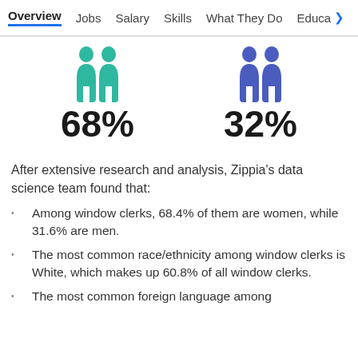Overview  Jobs  Salary  Skills  What They Do  Educa>
[Figure (infographic): Two teal person icons representing 68% women and two blue/purple person icons representing 32% men, with percentage labels below each group]
After extensive research and analysis, Zippia's data science team found that:
Among window clerks, 68.4% of them are women, while 31.6% are men.
The most common race/ethnicity among window clerks is White, which makes up 60.8% of all window clerks.
The most common foreign language among